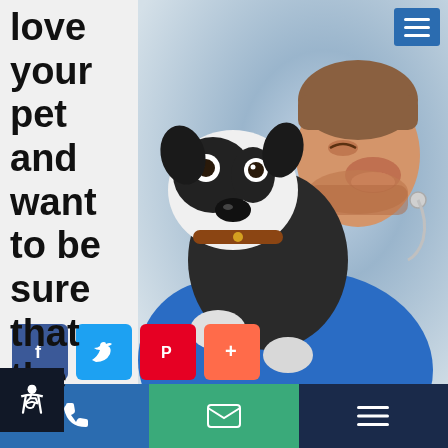[Figure (photo): A man in a blue shirt holding and nuzzling a Boston Terrier dog, smiling, with a stethoscope visible — appears to be a veterinarian with a pet.]
love your pet and want to be sure that the vet you choose has the right qualifications to provide the veterinary care that your animal needs. So, what qualifications should you look for?
[Figure (infographic): Social share buttons: Facebook (f), Twitter bird, Pinterest (P), and a plus (+) button]
[Figure (infographic): Bottom navigation bar with three segments: phone icon (blue), email/envelope icon (green), and hamburger menu icon (dark navy)]